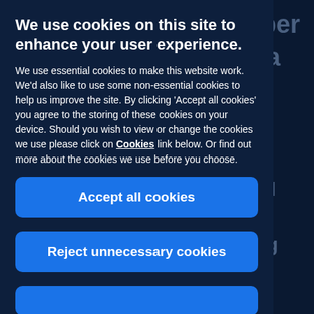We use cookies on this site to enhance your user experience.
We use essential cookies to make this website work. We'd also like to use some non-essential cookies to help us improve the site. By clicking 'Accept all cookies' you agree to the storing of these cookies on your device. Should you wish to view or change the cookies we use please click on Cookies link below. Or find out more about the cookies we use before you choose.
Accept all cookies
Reject unnecessary cookies